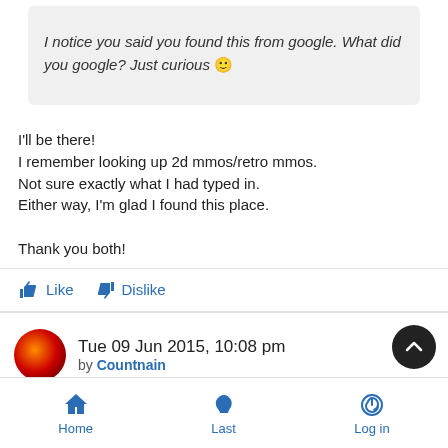I notice you said you found this from google. What did you google? Just curious 🙂
I'll be there!
I remember looking up 2d mmos/retro mmos.
Not sure exactly what I had typed in.
Either way, I'm glad I found this place.

Thank you both!
Like  Dislike
Tue 09 Jun 2015, 10:08 pm
by Countnain
Home  Last  Log in